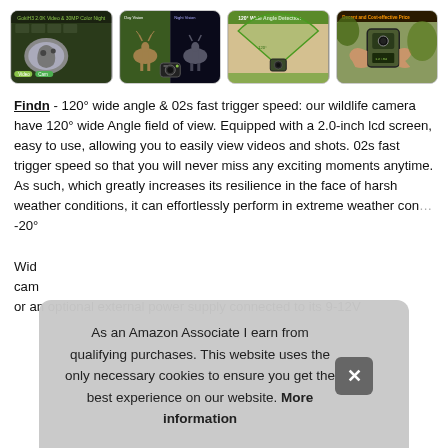[Figure (photo): Row of four product thumbnail images for a trail/wildlife camera, showing different features: camera UI screenshot with animal, day/night vision comparison with deer, 120° wide angle detection diagram, and camera being held showing cost-effective price.]
Findn - 120° wide angle & 02s fast trigger speed: our wildlife camera have 120° wide Angle field of view. Equipped with a 2.0-inch lcd screen, easy to use, allowing you to easily view videos and shots. 02s fast trigger speed so that you will never miss any exciting moments anytime. As such, which greatly increases its resilience in the face of harsh weather conditions, it can effortlessly perform in extreme weather con... -20°

Wid cam or an optional external power supply connected to its 9-12V
As an Amazon Associate I earn from qualifying purchases. This website uses the only necessary cookies to ensure you get the best experience on our website. More information